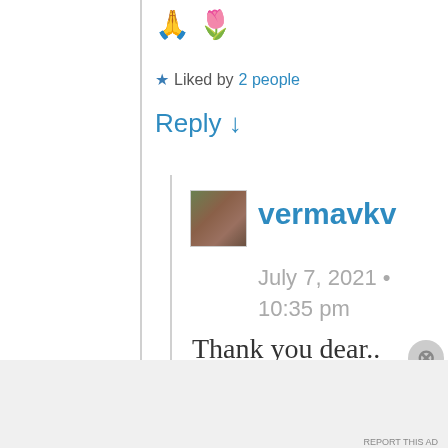🙏 🌷
★ Liked by 2 people
Reply ↓
vermavkv
July 7, 2021 • 10:35 pm
Thank you dear..
Advertisements
[Figure (screenshot): WordPress advertisement banner: 'Create immersive stories. GET THE APP' with WordPress logo]